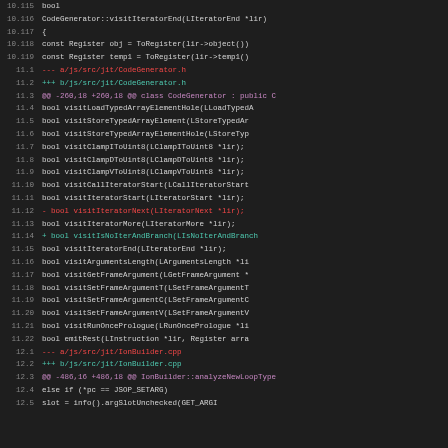[Figure (screenshot): Source code diff view showing changes to CodeGenerator.h and IonBuilder.cpp files, with line numbers on the left, diff markers (---, +++, @@, -, +) color-coded in red, green, and magenta on a dark background.]